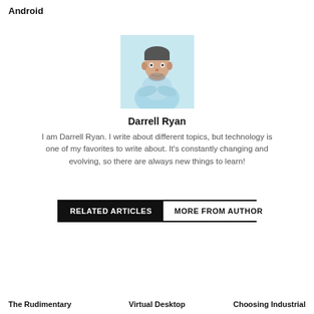Android
[Figure (photo): Portrait photo of a man with crossed arms wearing a light blue shirt, against a light blue background]
Darrell Ryan
I am Darrell Ryan. I write about different topics, but technology is one of my favorites to write about. It's constantly changing and evolving, so there are always new things to learn!
RELATED ARTICLES   MORE FROM AUTHOR
The Rudimentary   Virtual Desktop   Choosing Industrial